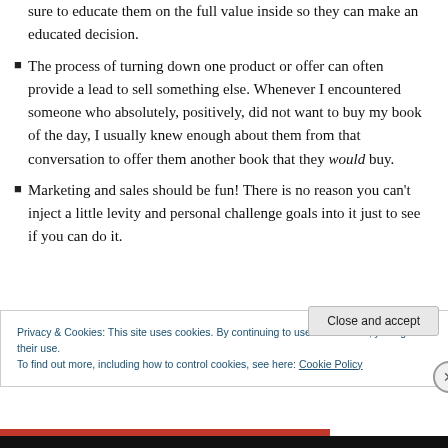sure to educate them on the full value inside so they can make an educated decision.
The process of turning down one product or offer can often provide a lead to sell something else. Whenever I encountered someone who absolutely, positively, did not want to buy my book of the day, I usually knew enough about them from that conversation to offer them another book that they would buy.
Marketing and sales should be fun! There is no reason you can't inject a little levity and personal challenge goals into it just to see if you can do it.
Privacy & Cookies: This site uses cookies. By continuing to use this website, you agree to their use. To find out more, including how to control cookies, see here: Cookie Policy